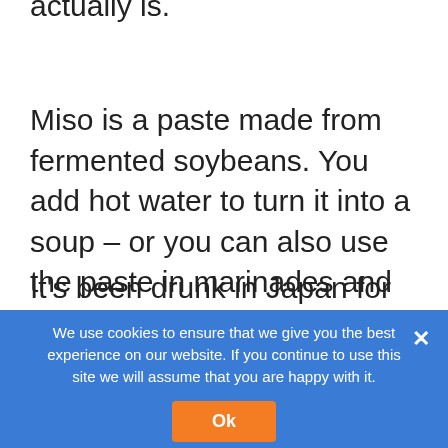actually is.
Miso is a paste made from fermented soybeans. You add hot water to turn it into a soup – or you can also use the paste in marinades and other recipes.
It's been drunk in Japan for years and each different region of Japan produces their own miso and Itsu's comes from the Nagano region close to Tokyo.
In Japan you can find entire stores dedicated to miso and it comes with it.
We use cookies to ensure that we give you the best experience on our website. If you continue to use this site we will assume that you are happy with it.